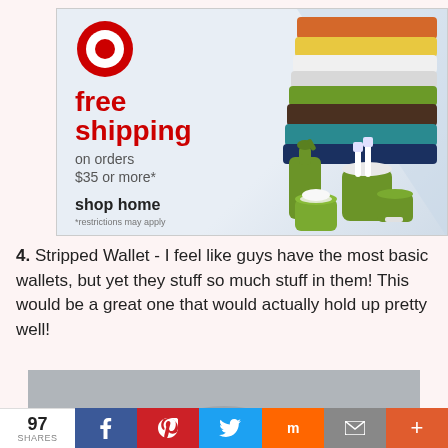[Figure (advertisement): Target advertisement banner: Target bullseye logo, 'free shipping on orders $35 or more*', 'shop home', '*restrictions may apply', with product photos of stacked colorful towels and green bathroom accessories (soap dispenser, cups, toothbrush holder)]
4.  Stripped Wallet - I feel like guys have the most basic wallets, but yet they stuff so much stuff in them!  This would be a great one that would actually hold up pretty well!
[Figure (photo): Partial product photo on a gray background, bottom portion cut off]
97 SHARES  [Facebook] [Pinterest] [Twitter] [Mix] [Email] [+]